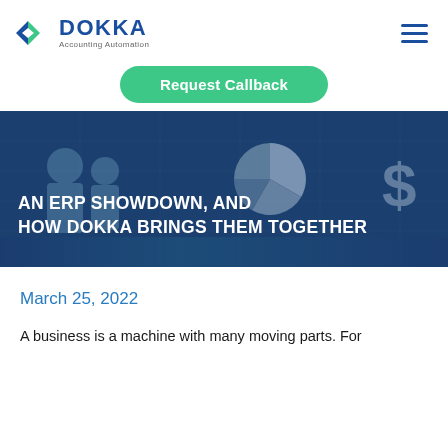DOKKA Accounting Automation
[Figure (screenshot): Request Callback green rounded button]
[Figure (illustration): Hero banner image with dark blue tinted background showing business people and financial icons (pie chart, dollar sign), with white bold text: AN ERP SHOWDOWN, AND HOW DOKKA BRINGS THEM TOGETHER]
AN ERP SHOWDOWN, AND HOW DOKKA BRINGS THEM TOGETHER
March 25, 2022
A business is a machine with many moving parts. For